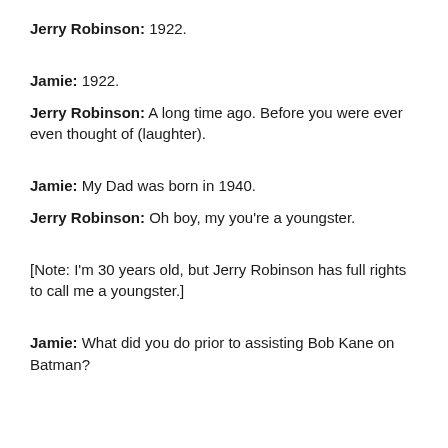Jerry Robinson: 1922.
Jamie: 1922.
Jerry Robinson: A long time ago. Before you were ever even thought of (laughter).
Jamie: My Dad was born in 1940.
Jerry Robinson: Oh boy, my you're a youngster.
[Note: I'm 30 years old, but Jerry Robinson has full rights to call me a youngster.]
Jamie: What did you do prior to assisting Bob Kane on Batman?